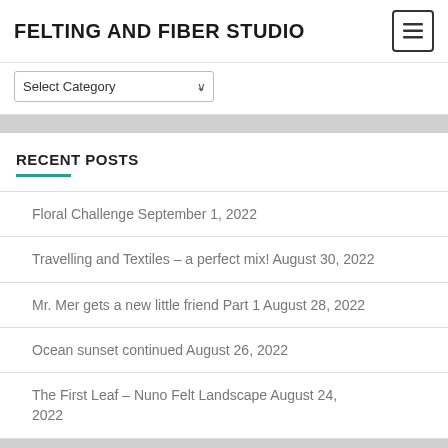FELTING AND FIBER STUDIO
Select Category
RECENT POSTS
Floral Challenge September 1, 2022
Travelling and Textiles – a perfect mix! August 30, 2022
Mr. Mer gets a new little friend Part 1 August 28, 2022
Ocean sunset continued August 26, 2022
The First Leaf – Nuno Felt Landscape August 24, 2022